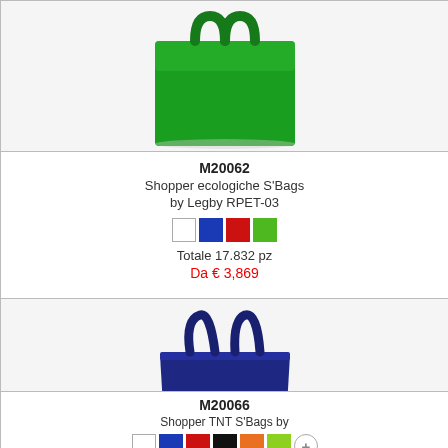[Figure (photo): Green shopper bag M20062 - top portion visible]
M20062
Shopper ecologiche S'Bags by Legby RPET-03
Totale 17.832 pz
Da € 3,869
[Figure (photo): Grey shopper bag M20064 - top portion visible]
M20064
Shopper TNT S'Bags by Legby OMORI
Totale 28.964 pz
Da € 1,032
[Figure (photo): Partially visible third product (Zainetto by Legby)]
[Figure (photo): Navy blue shopper bag M20066]
M20066
Shopper TNT S'Bags by Legby NAHA
[Figure (photo): Green glossy shopper bag M20068]
M20068
Shopper borse in polipropiliene S'Bags by Legby NORI-S